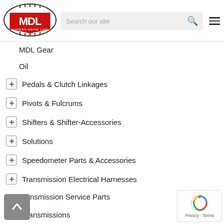[Figure (logo): MDL Modern Drive Line logo with shield/gear design]
MDL Gear
Oil
Pedals & Clutch Linkages
Pivots & Fulcrums
Shifters & Shifter-Accessories
Solutions
Speedometer Parts & Accessories
Transmission Electrical Harnesses
Transmission Service Parts
Transmissions
Tunnels